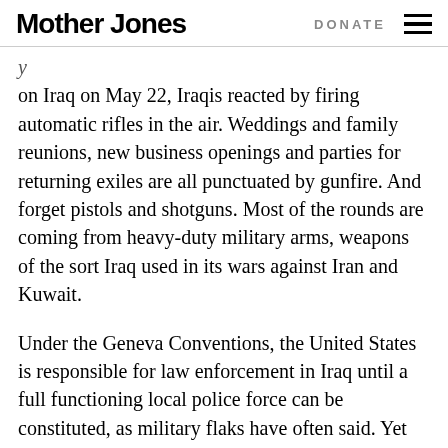Mother Jones  DONATE
on Iraq on May 22, Iraqis reacted by firing automatic rifles in the air. Weddings and family reunions, new business openings and parties for returning exiles are all punctuated by gunfire. And forget pistols and shotguns. Most of the rounds are coming from heavy-duty military arms, weapons of the sort Iraq used in its wars against Iran and Kuwait.
Under the Geneva Conventions, the United States is responsible for law enforcement in Iraq until a full functioning local police force can be constituted, as military flaks have often said. Yet American planners were late in grasping the seriousness of Iraq’s weapons problem. American and British soldiers are